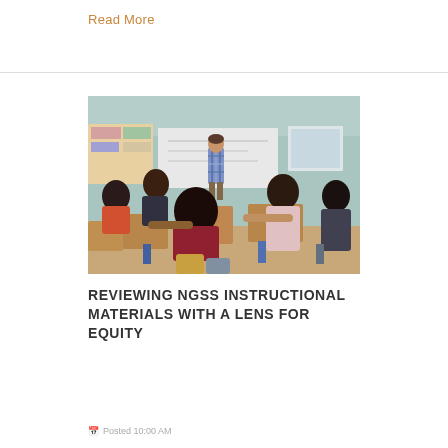Read More
[Figure (photo): A classroom scene showing students seated at desks viewed from behind, facing a male teacher standing in front of a whiteboard in a colorful classroom.]
REVIEWING NGSS INSTRUCTIONAL MATERIALS WITH A LENS FOR EQUITY
Posted 10:00 AM